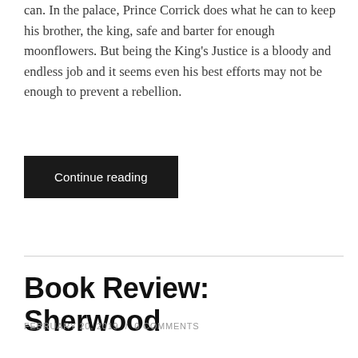can. In the palace, Prince Corrick does what he can to keep his brother, the king, safe and barter for enough moonflowers. But being the King's Justice is a bloody and endless job and it seems even his best efforts may not be enough to prevent a rebellion.
Continue reading
Book Review: Sherwood
FEBRUARY 20, 2019 / 0 COMMENTS